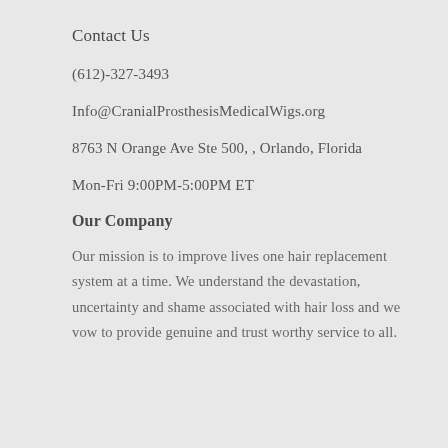Contact Us
(612)-327-3493
Info@CranialProsthesisMedicalWigs.org
8763 N Orange Ave Ste 500, , Orlando, Florida
Mon-Fri 9:00PM-5:00PM ET
Our Company
Our mission is to improve lives one hair replacement system at a time. We understand the devastation, uncertainty and shame associated with hair loss and we vow to provide genuine and trust worthy service to all.